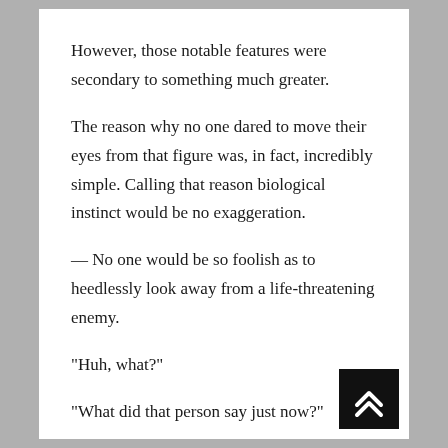However, those notable features were secondary to something much greater.
The reason why no one dared to move their eyes from that figure was, in fact, incredibly simple. Calling that reason biological instinct would be no exaggeration.
— No one would be so foolish as to heedlessly look away from a life-threatening enemy.
“Huh, what?”
“What did that person say just now?”
“This a joke, right? The Witch Cult, what’s with...”
[Figure (other): Black square button with white double up-arrow chevron icon in bottom right corner]